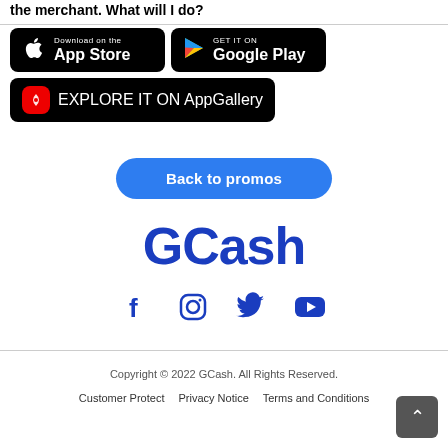the merchant. What will I do?
[Figure (logo): App Store download button (black, Apple logo)]
[Figure (logo): Google Play download button (black, Google Play triangle logo)]
[Figure (logo): Huawei AppGallery explore button (black, red Huawei logo)]
Back to promos
[Figure (logo): GCash logo in bold blue text]
[Figure (infographic): Social media icons: Facebook, Instagram, Twitter, YouTube in blue]
Copyright © 2022 GCash. All Rights Reserved.
Customer Protect   Privacy Notice   Terms and Conditions